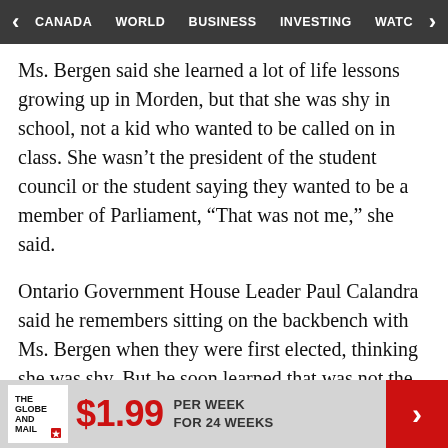CANADA | WORLD | BUSINESS | INVESTING | WATC
Ms. Bergen said she learned a lot of life lessons growing up in Morden, but that she was shy in school, not a kid who wanted to be called on in class. She wasn't the president of the student council or the student saying they wanted to be a member of Parliament, “That was not me,” she said.
Ontario Government House Leader Paul Calandra said he remembers sitting on the backbench with Ms. Bergen when they were first elected, thinking she was shy. But he soon learned that was not the case.
$1.99 PER WEEK FOR 24 WEEKS